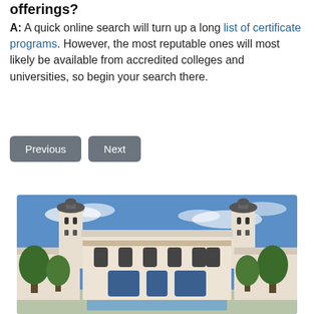offerings?
A: A quick online search will turn up a long list of certificate programs. However, the most reputable ones will most likely be available from accredited colleges and universities, so begin your search there.
[Figure (other): Two navigation buttons labeled 'Previous' and 'Next' with gray rounded rectangle styling]
[Figure (photo): Photo of a white Spanish colonial style university building with two bell towers against a blue sky, with trees and a reflecting pool in front]